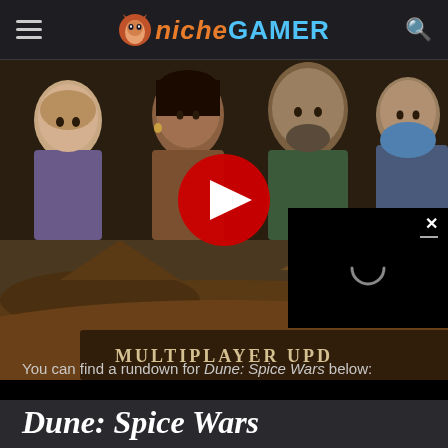Niche Gamer
[Figure (screenshot): YouTube video thumbnail for Dune: Spice Wars Multiplayer Update, showing four characters in front of a desert landscape. A red YouTube play button is overlaid in the center. A mini video player overlay with an X close button and loading spinner is visible on the bottom right.]
You can find a rundown for Dune: Spice Wars below:
Dune: Spice Wars